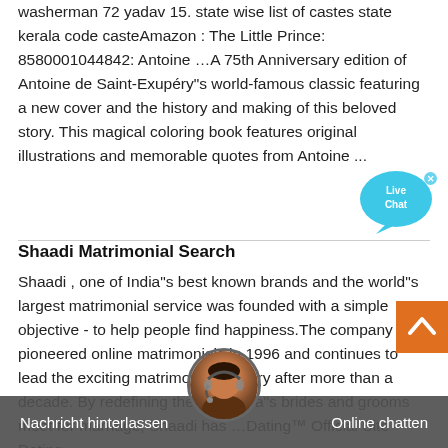washerman 72 yadav 15. state wise list of castes state kerala code casteAmazon : The Little Prince: 8580001044842: Antoine …A 75th Anniversary edition of Antoine de Saint-Exupéry"s world-famous classic featuring a new cover and the history and making of this beloved story. This magical coloring book features original illustrations and memorable quotes from Antoine ...
[Figure (other): Live Chat bubble icon with 'Live Chat' text, light blue speech bubble shape with an X close button]
Shaadi Matrimonial Search
Shaadi , one of India"s best known brands and the world"s largest matrimonial service was founded with a simple objective - to help people find happiness.The company pioneered online matrimonials in 1996 and continues to lead the exciting matrimony category after more than a decade. By redefining the way India"s brides and grooms meet for marriage, Shaadi has …Dating™ Official Site – Dating,
[Figure (other): Orange scroll-to-top chevron button in bottom right area]
[Figure (other): Live chat agent avatar (circular photo of woman with headset) overlapping bottom chat bar]
Nachricht hinterlassen     Online chatten